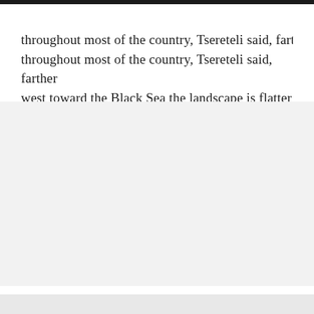throughout most of the country, Tsereteli said, farther west toward the Black Sea the landscape is flatter and sandier, less amenable to high-quality grape growing.